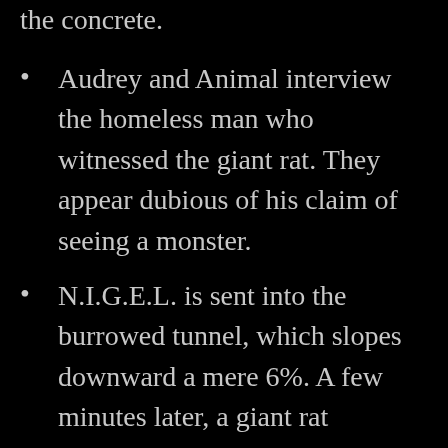section of the tunnel. Nick finds bite marks in the concrete.
Audrey and Animal interview the homeless man who witnessed the giant rat. They appear dubious of his claim of seeing a monster.
N.I.G.E.L. is sent into the burrowed tunnel, which slopes downward a mere 6%. A few minutes later, a giant rat discovers and seemingly destroys him.
Above ground, the team witness N.I.G.E.L.’s fate via Craven’s laptop. The water suddenly bulges and Godzilla emerges, unaware of the team’s presence and fixated on something unseen. Driven by pure hunting instinct, Godzilla locates a giant rat on the dock and